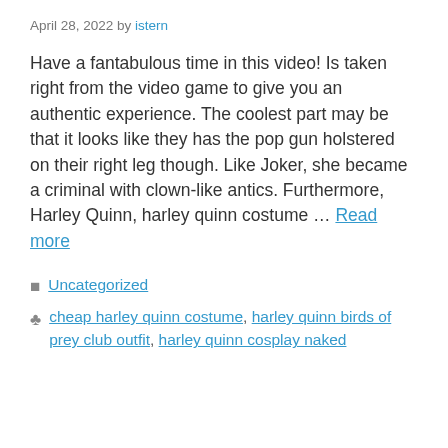April 28, 2022 by istern
Have a fantabulous time in this video! Is taken right from the video game to give you an authentic experience. The coolest part may be that it looks like they has the pop gun holstered on their right leg though. Like Joker, she became a criminal with clown-like antics. Furthermore, Harley Quinn, harley quinn costume … Read more
Uncategorized
cheap harley quinn costume, harley quinn birds of prey club outfit, harley quinn cosplay naked